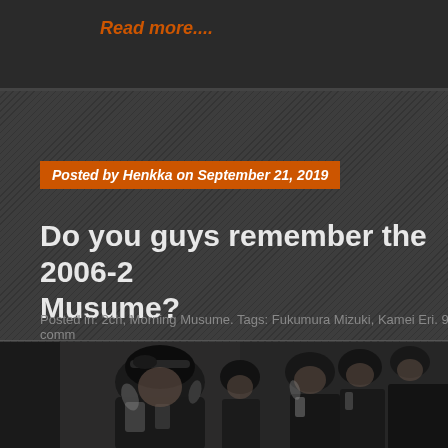Read more....
Posted by Henkka on September 21, 2019
Do you guys remember the 2006-2… Musume?
Posted in: 2ch, Morning Musume. Tags: Fukumura Mizuki, Kamei Eri. 9 comm…
[Figure (photo): Group photo of Morning Musume members in black and white costumes with feathers, posing together backstage or on a bus]